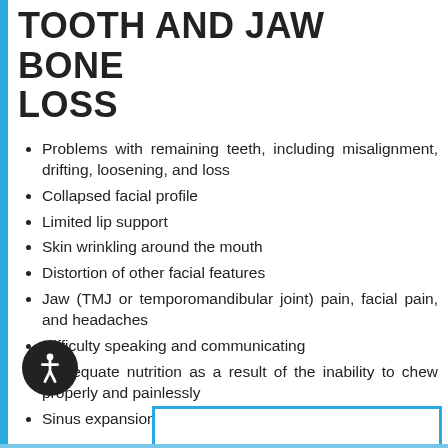TOOTH AND JAW BONE LOSS
Problems with remaining teeth, including misalignment, drifting, loosening, and loss
Collapsed facial profile
Limited lip support
Skin wrinkling around the mouth
Distortion of other facial features
Jaw (TMJ or temporomandibular joint) pain, facial pain, and headaches
Difficulty speaking and communicating
Inadequate nutrition as a result of the inability to chew properly and painlessly
Sinus expansion